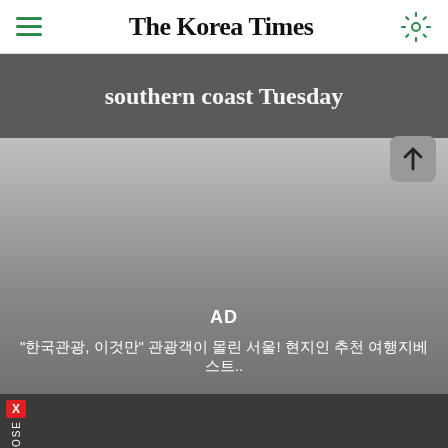The Korea Times
southern coast Tuesday
[Figure (screenshot): Advertisement area with gray gradient background showing Korean language ad text]
X CLOSE